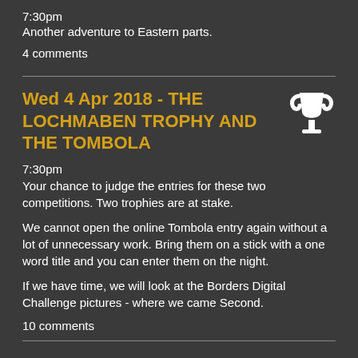7:30pm
Another adventure to Eastern parts.
4 comments
Wed 4 Apr 2018 - THE LOCHMABEN TROPHY AND THE TOMBOLA
7:30pm
Your chance to judge the entries for these two competitions.  Two trophies are at stake.
We cannot open the online Tombola entry again without a lot of unnecessary work.  Bring them on a stick with a one word title and you can enter them on the night.
If we have time, we will look at the Borders Digital Challenge pictures - where we came Second.
10 comments